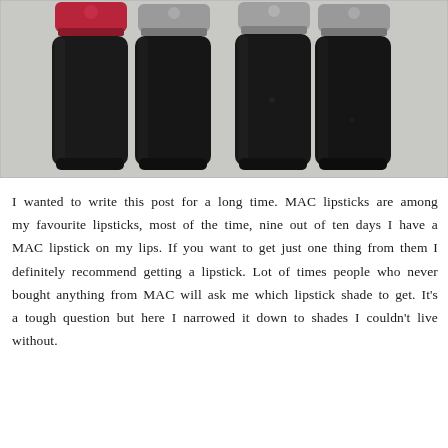[Figure (photo): Four MAC lipstick tubes arranged side by side, showing the black cylindrical cases with silver/red caps at the top. The lipstick on the far left has a red/pink cap, while the others have silver metallic caps. The tubes are standing upright against a light gray background.]
I wanted to write this post for a long time. MAC lipsticks are among my favourite lipsticks, most of the time, nine out of ten days I have a MAC lipstick on my lips. If you want to get just one thing from them I definitely recommend getting a lipstick. Lot of times people who never bought anything from MAC will ask me which lipstick shade to get. It's a tough question but here I narrowed it down to shades I couldn't live without.